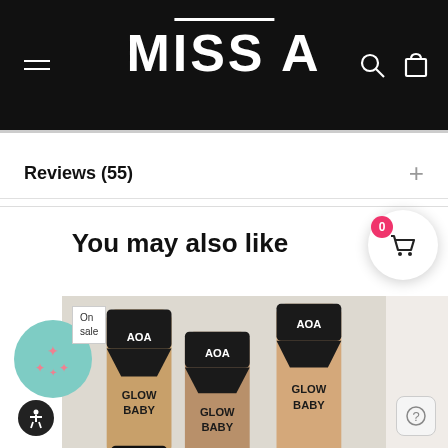MISS A
Reviews (55)
You may also like
[Figure (photo): Three AOA Glow Baby liquid highlighter tubes arranged overlapping on a light background, with an 'On sale' tag in top left corner]
[Figure (photo): Partial view of another beauty product on the right side]